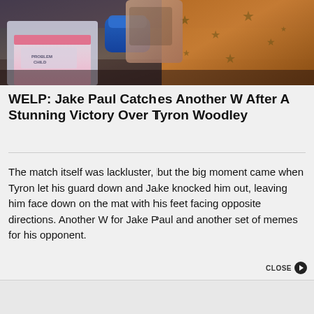[Figure (photo): Two boxers in the ring — one wearing white and pink shorts, the other in a gold/orange glittery robe with stars. A blue glove is visible mid-frame.]
WELP: Jake Paul Catches Another W After A Stunning Victory Over Tyron Woodley
The match itself was lackluster, but the big moment came when Tyron let his guard down and Jake knocked him out, leaving him face down on the mat with his feet facing opposite directions. Another W for Jake Paul and another set of memes for his opponent.